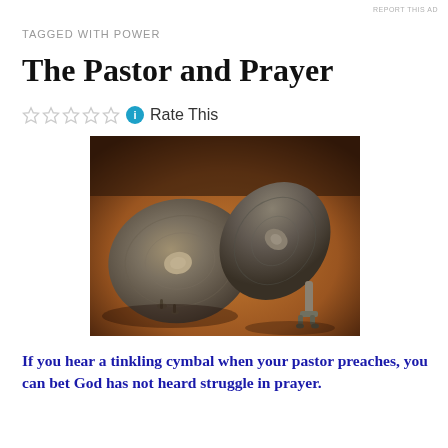REPORT THIS AD
TAGGED WITH POWER
The Pastor and Prayer
☆☆☆☆☆ ⓘ Rate This
[Figure (photo): Two cymbals resting on a warm brown surface, photographed close up. One cymbal is face-down showing its back, the other is tilted upright showing its face and handle hardware.]
If you hear a tinkling cymbal when your pastor preaches, you can bet God has not heard struggle in prayer.